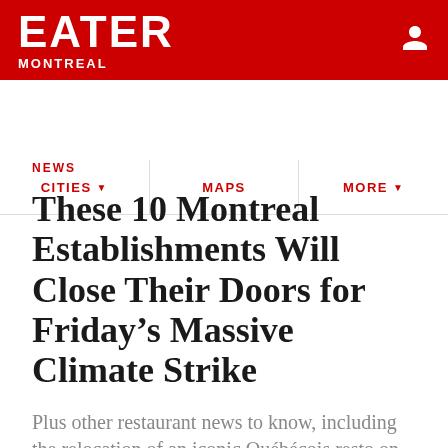EATER MONTREAL
CITIES ▾  MAPS  MORE ▾
NEWS
These 10 Montreal Establishments Will Close Their Doors for Friday's Massive Climate Strike
Plus other restaurant news to know, including the relocation of an iconic Québécois resto on the Plateau.
by Tim Forster | @timothyjforster | Sep 26, 2019, 2:01pm EDT